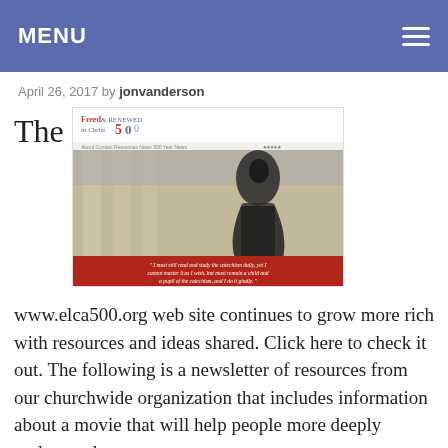MENU
April 26, 2017 by jonvanderson
The
[Figure (screenshot): Screenshot of www.elca500.org website titled 'Freed & Renewed in Christ 500' with a photo of a statue against a building, and a red banner with a quote at the bottom.]
www.elca500.org web site continues to grow more rich with resources and ideas shared. Click here to check it out. The following is a newsletter of resources from our churchwide organization that includes information about a movie that will help people more deeply understand our